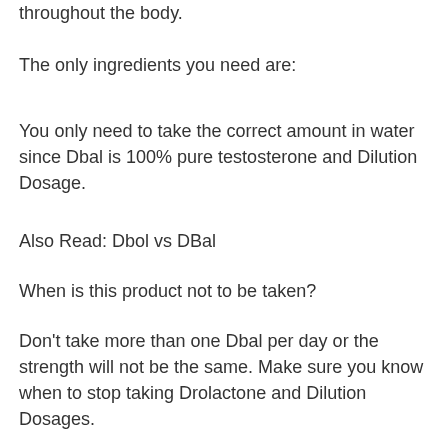throughout the body.
The only ingredients you need are:
You only need to take the correct amount in water since Dbal is 100% pure testosterone and Dilution Dosage.
Also Read: Dbol vs DBal
When is this product not to be taken?
Don't take more than one Dbal per day or the strength will not be the same. Make sure you know when to stop taking Drolactone and Dilution Dosages.
When can I use the product?
You should be taking it at least 24 hours before and after your gym classes. As we mentioned earlier, you need to take enough.